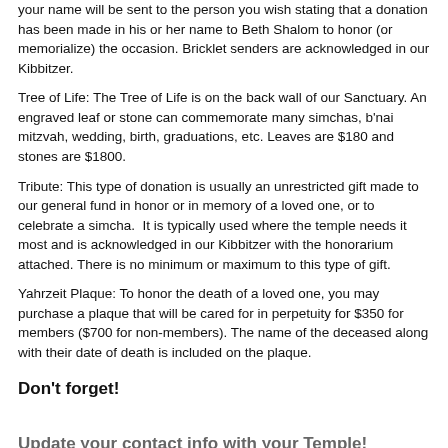your name will be sent to the person you wish stating that a donation has been made in his or her name to Beth Shalom to honor (or memorialize) the occasion. Bricklet senders are acknowledged in our Kibbitzer.
Tree of Life: The Tree of Life is on the back wall of our Sanctuary. An engraved leaf or stone can commemorate many simchas, b'nai mitzvah, wedding, birth, graduations, etc. Leaves are $180 and stones are $1800.
Tribute: This type of donation is usually an unrestricted gift made to our general fund in honor or in memory of a loved one, or to celebrate a simcha. It is typically used where the temple needs it most and is acknowledged in our Kibbitzer with the honorarium attached. There is no minimum or maximum to this type of gift.
Yahrzeit Plaque: To honor the death of a loved one, you may purchase a plaque that will be cared for in perpetuity for $350 for members ($700 for non-members). The name of the deceased along with their date of death is included on the plaque.
Don’t forget!
Update your contact info with your Temple!